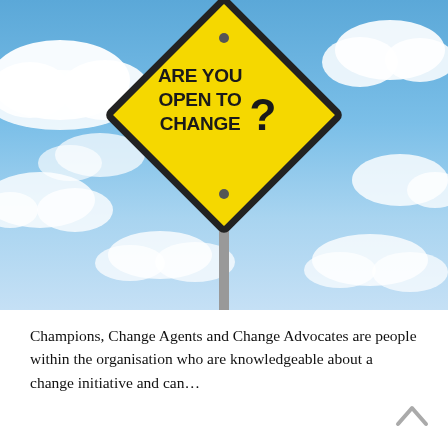[Figure (photo): A yellow diamond-shaped road sign reading 'ARE YOU OPEN TO CHANGE?' against a blue sky with white clouds, mounted on a grey pole.]
Champions, Change Agents and Change Advocates are people within the organisation who are knowledgeable about a change initiative and can…